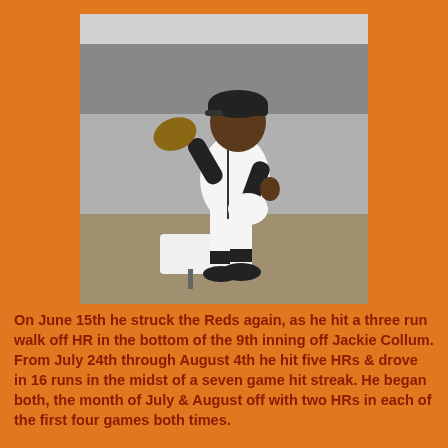[Figure (photo): Black and white photograph of a baseball player in a white uniform in a fielding stance near a base, with trees visible in the background.]
On June 15th he struck the Reds again, as he hit a three run walk off HR in the bottom of the 9th inning off Jackie Collum. From July 24th through August 4th he hit five HRs & drove in 16 runs in the midst of a seven game hit streak. He began both, the month of July & August off with two HRs in each of the first four games both times.